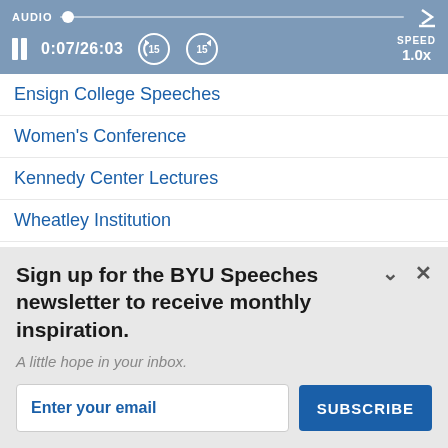[Figure (screenshot): Audio player bar with pause button, time display 0:07/26:03, skip back/forward 15s buttons, speed 1.0x, and audio slider]
Ensign College Speeches
Women's Conference
Kennedy Center Lectures
Wheatley Institution
Worldwide Devotional
Sign up for the BYU Speeches newsletter to receive monthly inspiration.
A little hope in your inbox.
Enter your email
SUBSCRIBE